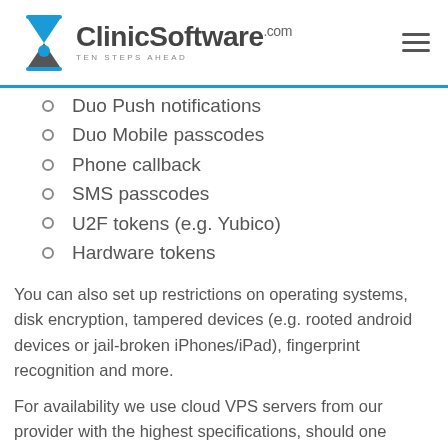ClinicSoftware.com - TEN STEPS AHEAD
Duo Push notifications
Duo Mobile passcodes
Phone callback
SMS passcodes
U2F tokens (e.g. Yubico)
Hardware tokens
You can also set up restrictions on operating systems, disk encryption, tampered devices (e.g. rooted android devices or jail-broken iPhones/iPad), fingerprint recognition and more.
For availability we use cloud VPS servers from our provider with the highest specifications, should one virtual server suffer an outage your data will be instantly transferred to a live machine with no interruption. We use database replication and also back up the databases daily on a separate server.